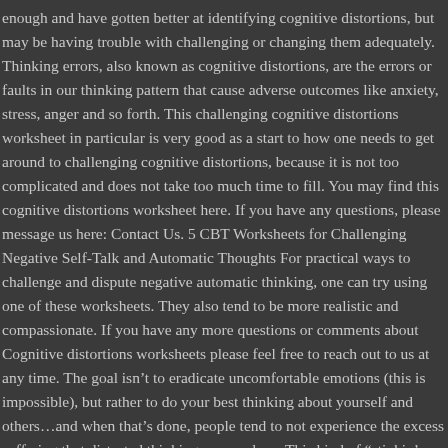enough and have gotten better at identifying cognitive distortions, but may be having trouble with challenging or changing them adequately. Thinking errors, also known as cognitive distortions, are the errors or faults in our thinking pattern that cause adverse outcomes like anxiety, stress, anger and so forth. This challenging cognitive distortions worksheet in particular is very good as a start to how one needs to get around to challenging cognitive distortions, because it is not too complicated and does not take too much time to fill. You may find this cognitive distortions worksheet here. If you have any questions, please message us here: Contact Us. 5 CBT Worksheets for Challenging Negative Self-Talk and Automatic Thoughts For practical ways to challenge and dispute negative automatic thinking, one can try using one of these worksheets. They also tend to be more realistic and compassionate. If you have any more questions or comments about Cognitive distortions worksheets please feel free to reach out to us at any time. The goal isn’t to eradicate uncomfortable emotions (this is impossible), but rather to do your best thinking about yourself and others…and when that’s done, people tend to not experience the excess suffering that distorted thinking can produce. This kind of “stinkin’ thinkin’”